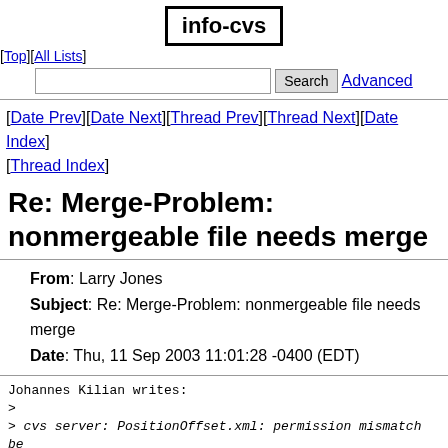info-cvs
[Top][All Lists]
Search  Advanced
[Date Prev][Date Next][Thread Prev][Thread Next][Date Index][Thread Index]
Re: Merge-Problem: nonmergeable file needs merge
From: Larry Jones
Subject: Re: Merge-Problem: nonmergeable file needs merge
Date: Thu, 11 Sep 2003 11:01:28 -0400 (EDT)
Johannes Kilian writes:
>
> cvs server: PositionOffset.xml: permission mismatch be

This indicates that you have enabled the notoriously bugg PreservePermissions code.  Since that has been disabled i releases of CVS, you must either be using a very old rele you have gone out of your way to enable it.  I strongly s